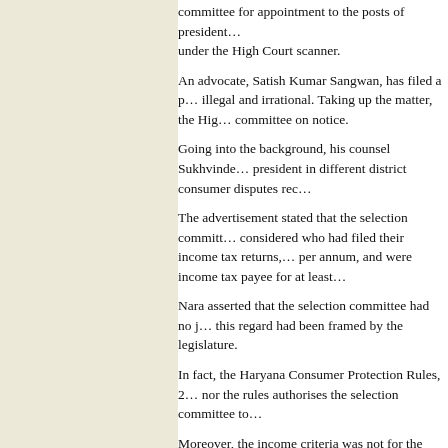committee for appointment to the posts of president… under the High Court scanner.
An advocate, Satish Kumar Sangwan, has filed a p… illegal and irrational. Taking up the matter, the Hig… committee on notice.
Going into the background, his counsel Sukhvinde… president in different district consumer disputes rec…
The advertisement stated that the selection committ… considered who had filed their income tax returns,… per annum, and were income tax payee for at least…
Nara asserted that the selection committee had no j… this regard had been framed by the legislature.
In fact, the Haryana Consumer Protection Rules, 2… nor the rules authorises the selection committee to…
Moreover, the income criteria was not for the purp… minimum eligibility condition keeping in view the…
Nara added the qualification prescribed for the pres… District Judge, minimum income was not a require… from the income he earns," he argued.